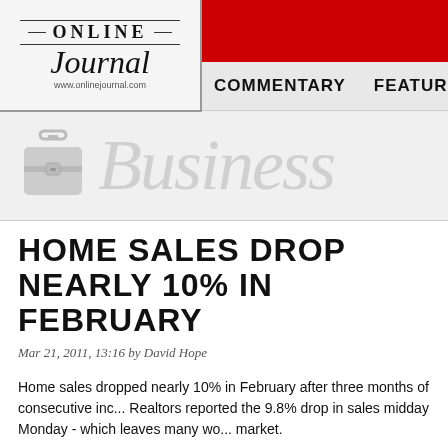ONLINE Journal www.onlinejournal.com | COMMENTARY | FEATUR...
[Figure (illustration): Business section banner with briefcase icon and italic 'Business' watermark text in light gray]
HOME SALES DROP NEARLY 10% IN FEBRUARY
Mar 21, 2011, 13:16 by David Hope
Home sales dropped nearly 10% in February after three months of consecutive increases. Realtors reported the 9.8% drop in sales midday Monday - which leaves many wondering about the market.
Total sales of single-family homes, townhomes, condominiums and co-ops fell to 4.88 million in February, down from 5.36 million units a month ago, NAR said in a release.